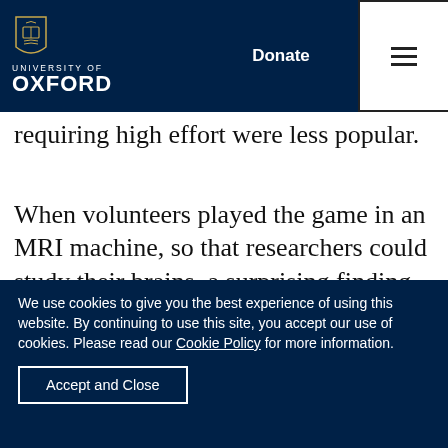University of Oxford — navigation bar with Donate button and hamburger menu
ffers with high reward... ld... ly accepted, while low... requiring high effort were less popular.
When volunteers played the game in an MRI machine, so that researchers could study their brains, a surprising finding emerged. Although apathetic people were less likely to accept effortful offers, one area of their brains actually showed more activity than in motivated individuals. The pre-motor cortex is a key area involved in taking actions. It becomes active just before those areas of the brain that control our
We use cookies to give you the best experience of using this website. By continuing to use this site, you accept our use of cookies. Please read our Cookie Policy for more information.
Accept and Close